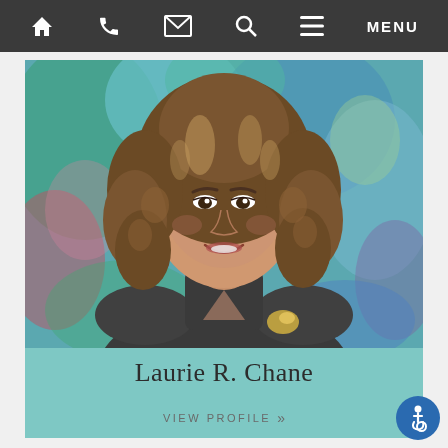Navigation bar with home, phone, email, search, and menu icons
[Figure (photo): Professional headshot of Laurie R. Chane, a woman with curly brown hair wearing a dark blazer with a gold brooch, against a colorful abstract background]
Laurie R. Chane
VIEW PROFILE »